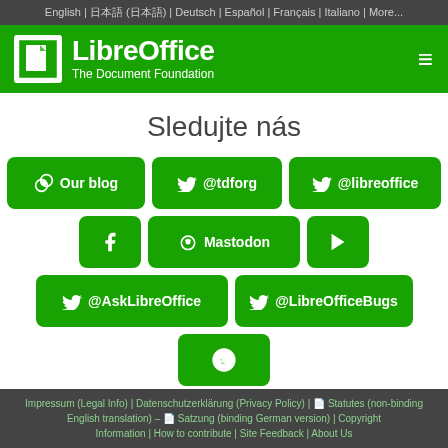English | 日本語 (日本語) | Deutsch | Español | Français | Italiano | More...
[Figure (logo): LibreOffice logo with document icon and text 'LibreOffice / The Document Foundation' on green background with hamburger menu icon]
Sledujte nás
[Figure (infographic): Grid of green social media buttons: Our blog, @tdforg, @libreoffice, Facebook, Mastodon, YouTube, @AskLibreOffice, @LibreOfficeBugs, Reddit]
Mastodon
Impressum (Legal Info) | Datenschutzerklärung (Privacy Policy) | Statutes (non-binding English translation) – Satzung (binding German version) | Copyright Information | How to contribute | Site Feedback | About Us